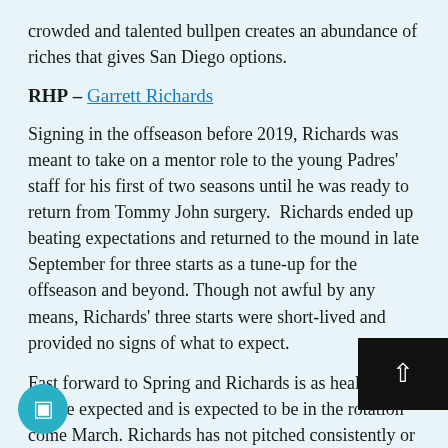crowded and talented bullpen creates an abundance of riches that gives San Diego options.
RHP – Garrett Richards
Signing in the offseason before 2019, Richards was meant to take on a mentor role to the young Padres' staff for his first of two seasons until he was ready to return from Tommy John surgery.  Richards ended up beating expectations and returned to the mound in late September for three starts as a tune-up for the offseason and beyond. Though not awful by any means, Richards' three starts were short-lived and provided no signs of what to expect.
Fast forward to Spring and Richards is as healthy as can be expected and is expected to be in the rotation come March. Richards has not pitched consistently or overly productively in years, so it's